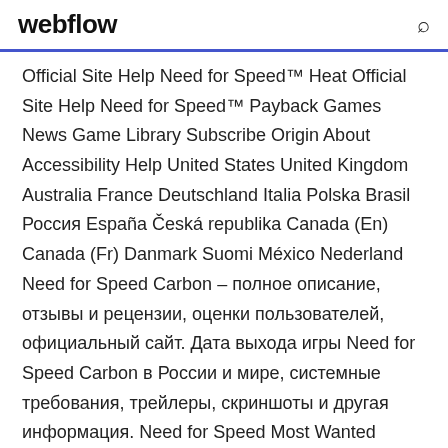webflow
Official Site Help Need for Speed™ Heat Official Site Help Need for Speed™ Payback Games News Game Library Subscribe Origin About Accessibility Help United States United Kingdom Australia France Deutschland Italia Polska Brasil Россия España Česká republika Canada (En) Canada (Fr) Danmark Suomi México Nederland Need for Speed Carbon – полное описание, отзывы и рецензии, оценки пользователей, официальный сайт. Дата выхода игры Need for Speed Carbon в России и мире, системные требования, трейлеры, скриншоты и другая информация. Need for Speed Most Wanted delivers a deep, physical experience that showcases the personalities of awesome